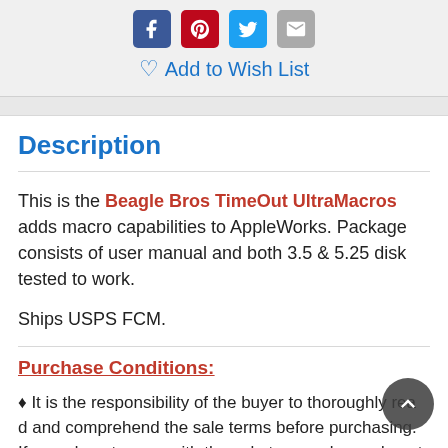[Figure (other): Social sharing icons: Facebook (blue), Pinterest (red), Twitter (cyan), Email (gray)]
Add to Wish List
Description
This is the Beagle Bros TimeOut UltraMacros adds macro capabilities to AppleWorks. Package consists of user manual and both 3.5 & 5.25 disk tested to work.
Ships USPS FCM.
Purchase Conditions:
♦ It is the responsibility of the buyer to thoroughly read and comprehend the sale terms before purchasing. If you do not agree with the sale terms, please do not purchase, as we d